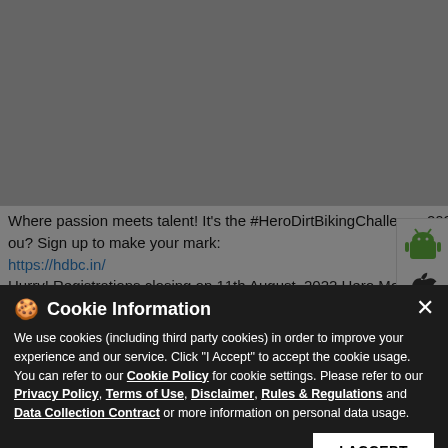[Figure (screenshot): Gray placeholder image at the top of a social media post]
Where passion meets talent! It's the #HeroDirtBikingChallenge 2022. The top athletes across India are coming, so where are you? Sign up to make your mark:
https://hdbc.in/
Hurry! Registrations closing on 11th August, 2022 Hero MotoCorp #YuvaKumar #Xpulse4V #MakeNewTracks #Xpulse200 #Xpulse4VRallyKit #HDBC22 #HDBC #DirtBiking #DirtBikingChallenge #RallyKit #HeroMotoCorp
Cookie Information
We use cookies (including third party cookies) in order to improve your experience and our service. Click "I Accept" to accept the cookie usage. You can refer to our Cookie Policy for cookie settings. Please refer to our Privacy Policy, Terms of Use, Disclaimer, Rules & Regulations and Data Collection Contract or more information on personal data usage.
#MakeNewTracks
#Xpulse200
#Xpulse4VRallyKit